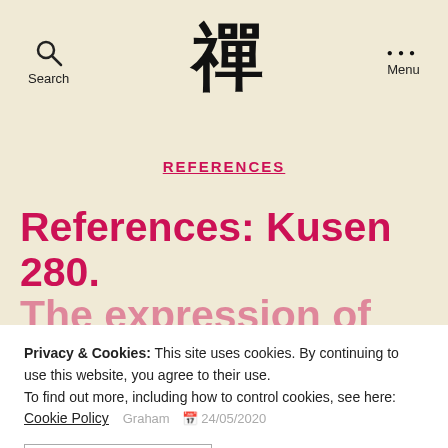Search  [Zen logo]  Menu
REFERENCES
References: Kusen 280. The expression of the Way
Privacy & Cookies: This site uses cookies. By continuing to use this website, you agree to their use.
To find out more, including how to control cookies, see here: Cookie Policy
Graham  24/05/2020
CLOSE AND ACCEPT